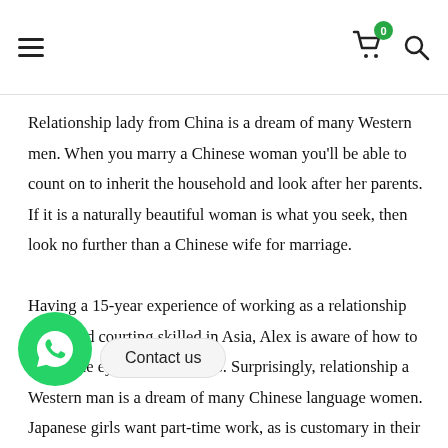≡  🛒 0  🔍
Relationship lady from China is a dream of many Western men. When you marry a Chinese woman you'll be able to count on to inherit the household and look after her parents. If it is a naturally beautiful woman is what you seek, then look no further than a Chinese wife for marriage.

Having a 15-year experience of working as a relationship coach and courting skilled in Asia, Alex is aware of how to attract the eye of Asian ladies. Surprisingly, relationship a Western man is a dream of many Chinese language women. Japanese girls want part-time work, as is customary in their homeland.

M... o a...age mail-order wife does not imply you will need to spend 24 hours a day, 7 days a week collectively, and a li...